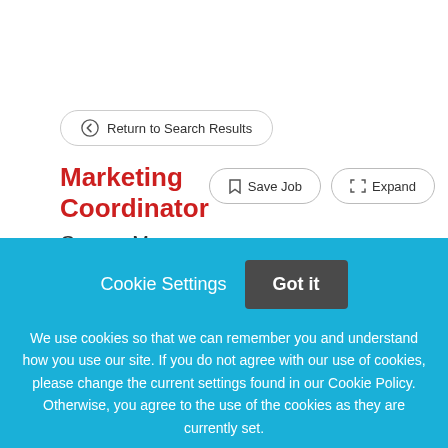Return to Search Results
Marketing Coordinator
George Mason University
Save Job
Expand
Cookie Settings
Got it
We use cookies so that we can remember you and understand how you use our site. If you do not agree with our use of cookies, please change the current settings found in our Cookie Policy. Otherwise, you agree to the use of the cookies as they are currently set.